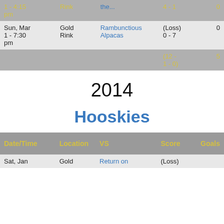| Date/Time | Location | VS | Score | Goals |
| --- | --- | --- | --- | --- |
| 1 - 4:15 pm | Rink | the... | 4 - 1 | 0 |
| Sun, Mar 1 - 7:30 pm | Gold Rink | Rambunctious Alpacas | (Loss) 0 - 7 | 0 |
|  |  |  | (12 - 1 - 0) | 5 |
2014
Hooskies
| Date/Time | Location | VS | Score | Goals |
| --- | --- | --- | --- | --- |
| Sat, Jan | Gold | Return on | (Loss) |